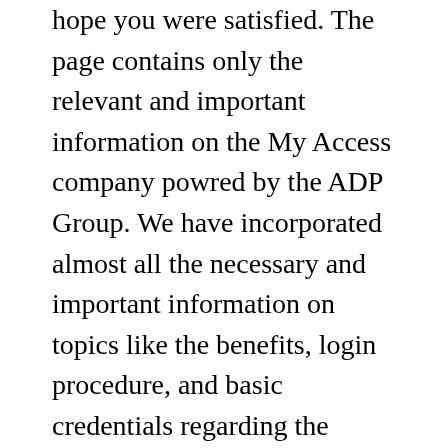hope you were satisfied. The page contains only the relevant and important information on the My Access company powred by the ADP Group. We have incorporated almost all the necessary and important information on topics like the benefits, login procedure, and basic credentials regarding the same. As a reader, you will get complete information on the same and will have no difficulty during the login.
You can also ask your doubts via the comment section. You notifying in the comments section is the easiest portal for us to solve your doubts in the best way. So feel free to ask your doubts in the comment